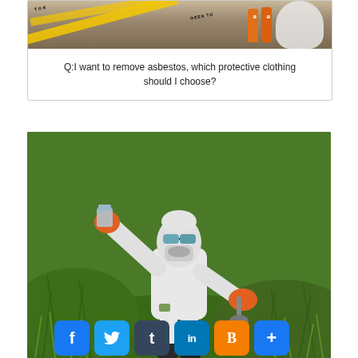[Figure (photo): Photo of hazmat/asbestos removal scene with yellow caution tape, white protective suit, and orange chemical bottles against a brick background]
Q:I want to remove asbestos, which protective clothing should I choose?
[Figure (photo): Person in white full-body hazmat protective suit with orange gloves, safety goggles, and face mask, standing in a green field and holding up a sample container]
f t in B +